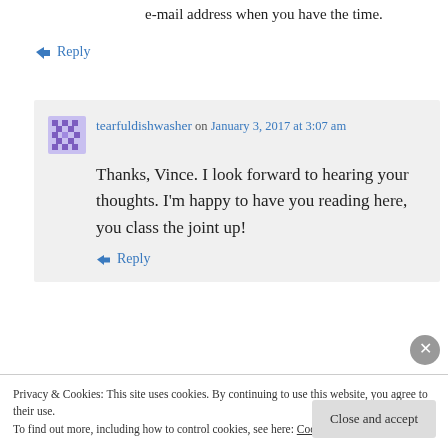e-mail address when you have the time.
↪ Reply
tearfuldishwasher on January 3, 2017 at 3:07 am
Thanks, Vince. I look forward to hearing your thoughts. I'm happy to have you reading here, you class the joint up!
↪ Reply
Privacy & Cookies: This site uses cookies. By continuing to use this website, you agree to their use.
To find out more, including how to control cookies, see here: Cookie Policy
Close and accept